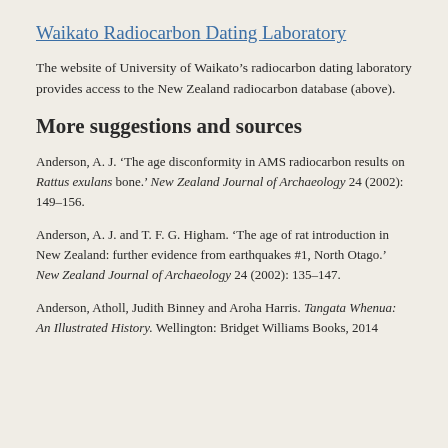Waikato Radiocarbon Dating Laboratory
The website of University of Waikato's radiocarbon dating laboratory provides access to the New Zealand radiocarbon database (above).
More suggestions and sources
Anderson, A. J. 'The age disconformity in AMS radiocarbon results on Rattus exulans bone.' New Zealand Journal of Archaeology 24 (2002): 149–156.
Anderson, A. J. and T. F. G. Higham. 'The age of rat introduction in New Zealand: further evidence from earthquakes #1, North Otago.' New Zealand Journal of Archaeology 24 (2002): 135–147.
Anderson, Atholl, Judith Binney and Aroha Harris. Tangata Whenua: An Illustrated History. Wellington: Bridget Williams Books, 2014